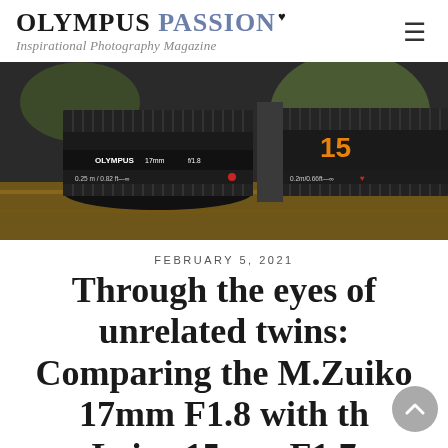OLYMPUS PASSION – Inspirational Photography Magazine
[Figure (photo): Close-up photo of two camera lenses side by side on a wooden surface. Left lens is an Olympus M.Zuiko 17mm f/1.8 with text '0.25m/0.82ft' and a red dot. Right lens shows '15' in orange and '0.2m/0.66ft' markings. Both lenses are black.]
FEBRUARY 5, 2021
Through the eyes of unrelated twins: Comparing the M.Zuiko 17mm F1.8 with the Leica 15mm F1.7